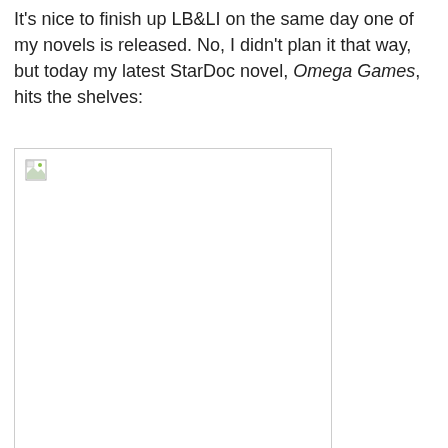It's nice to finish up LB&LI on the same day one of my novels is released. No, I didn't plan it that way, but today my latest StarDoc novel, Omega Games, hits the shelves:
[Figure (photo): A broken/unloaded image placeholder showing a small broken image icon in the top-left corner, inside a light gray bordered box. Represents the book cover of Omega Games.]